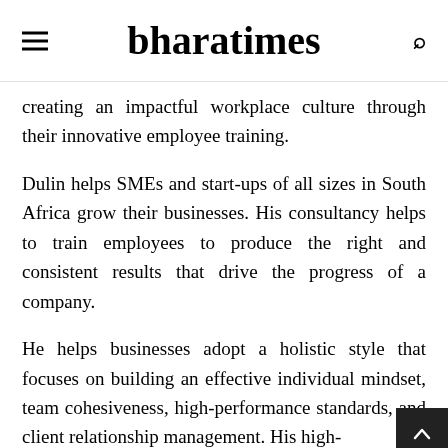bharatimes
creating an impactful workplace culture through their innovative employee training.
Dulin helps SMEs and start-ups of all sizes in South Africa grow their businesses. His consultancy helps to train employees to produce the right and consistent results that drive the progress of a company.
He helps businesses adopt a holistic style that focuses on building an effective individual mindset, team cohesiveness, high-performance standards, and client relationship management. His high-